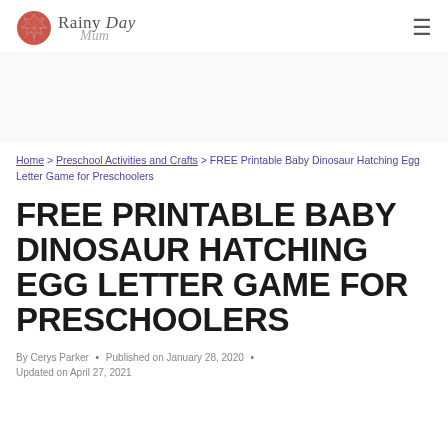Rainy Day Mum
Home > Preschool Activities and Crafts > FREE Printable Baby Dinosaur Hatching Egg Letter Game for Preschoolers
FREE PRINTABLE BABY DINOSAUR HATCHING EGG LETTER GAME FOR PRESCHOOLERS
By Cerys Parker • Published on January 28, 2020 • Updated on April 27, 2021